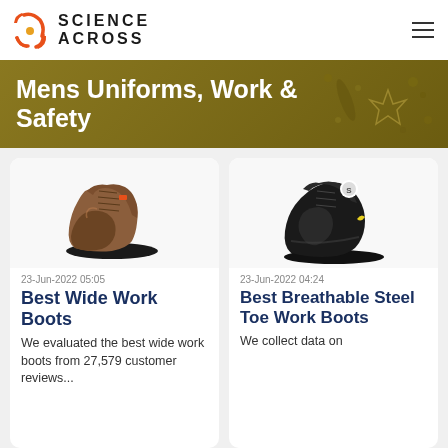Science Across
Mens Uniforms, Work & Safety
[Figure (photo): Brown leather work boot product photo]
23-Jun-2022 05:05
Best Wide Work Boots
We evaluated the best wide work boots from 27,579 customer reviews...
[Figure (photo): Black athletic steel toe work boot product photo]
23-Jun-2022 04:24
Best Breathable Steel Toe Work Boots
We collect data on